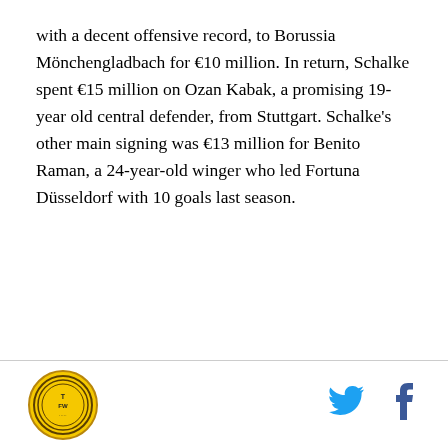with a decent offensive record, to Borussia Mönchengladbach for €10 million. In return, Schalke spent €15 million on Ozan Kabak, a promising 19-year old central defender, from Stuttgart. Schalke's other main signing was €13 million for Benito Raman, a 24-year-old winger who led Fortuna Düsseldorf with 10 goals last season.
[Figure (logo): TFW circular logo with yellow background and dark border]